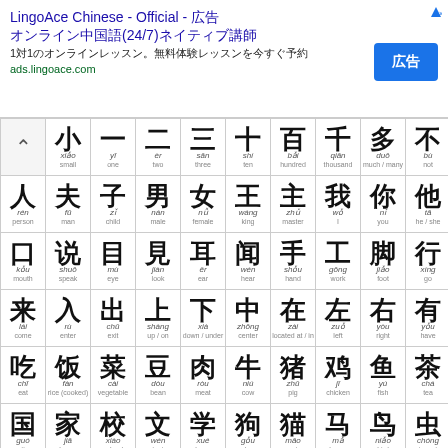[Figure (screenshot): LingoAce Chinese advertisement banner with title, subtitle, URL and blue button]
| nav | 小 xiǎo small | 一 yī one | 二 èr two | 三 sān three | 十 shí ten | 百 bǎi hundred | 千 qiān thousand | 多 duō much/many | 不 bù not |
| --- | --- | --- | --- | --- | --- | --- | --- | --- | --- |
| 人 rén person | 夫 fū man | 子 zǐ child | 男 nán male | 女 nǚ female | 王 wáng king | 主 zhǔ master | 我 wǒ I | 你 nǐ you | 他 tā he/she |
| 口 kǒu mouth | 说 shuō speak | 目 mù eye | 見 jiàn look | 耳 ěr ear | 闻 wén hear | 手 shǒu hand | 工 gōng work | 脚 jiǎo foot | 行 xíng go |
| 来 lái come | 入 rù enter | 出 chū exit | 上 shàng up/on | 下 xià down/under | 中 zhōng center | 在 zài located at/in | 左 zuǒ left | 右 yòu right | 有 yǒu have |
| 吃 chī eat | 饭 fàn rice (cooked) | 菜 cài vegetable | 豆 dòu bean | 肉 ròu meat | 牛 niú cow | 猪 zhū pig | 鸡 jī chicken | 鱼 yú fish | 茶 chá tea |
| 国 guó nation | 家 jiā home | 校 xiào school | 文 wén text | 学 xué learn | 狗 gǒu dog | 猫 māo cat | 马 mǎ horse | 鸟 niǎo bird | 虫 chóng insect |
| 日 rì sun/day | 月 yuè moon/month | 天 tiān sky | 地 dì land | 海 hǎi sea | 木 mù wood | 火 huǒ fire | 土 tǔ earth | 金 jīn metal/gold | 水 shuǐ water |
| 气 | 云 | 雨 | 山 | 川 | 米 | 田 | 花 | 王 | 工 |